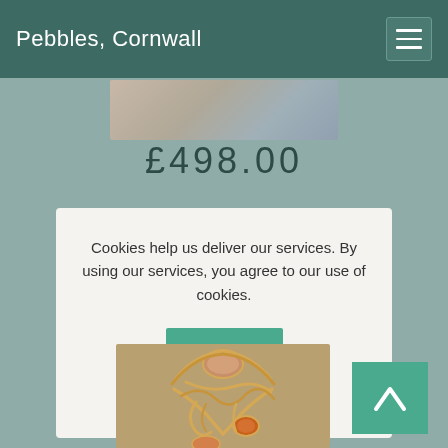Pebbles, Cornwall
[Figure (photo): Partial product image visible at top of page behind navigation bar, blurred/cropped jewelry photo]
£498.00
Cookies help us deliver our services. By using our services, you agree to our use of cookies.
OK
Learn more
[Figure (photo): Gold jewelry ring with gemstones — complex wire-wrapped gold ring with brown/orange stones, photographed on white background]
[Figure (other): Scroll-to-top button with upward arrow chevron icon, teal/green background]